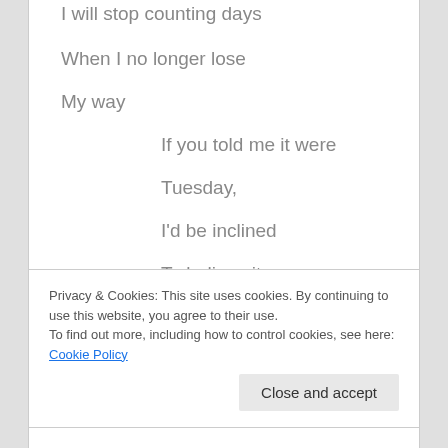I will stop counting days
When I no longer lose
My way
If you told me it were
Tuesday,
I'd be inclined
To believe it
This should be,
As I say,
Privacy & Cookies: This site uses cookies. By continuing to use this website, you agree to their use. To find out more, including how to control cookies, see here: Cookie Policy